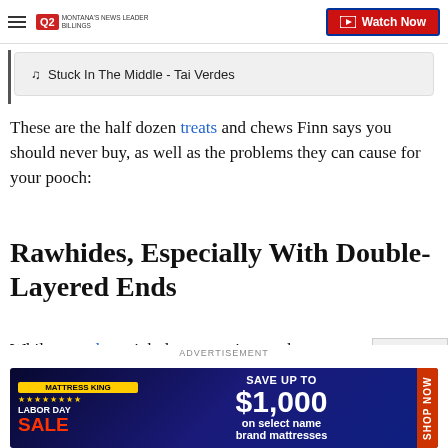Q2 Montana's News Leader | Watch Now
♫ Stuck In The Middle - Tai Verdes
These are the half dozen treats and chews Finn says you should never buy, as well as the problems they can cause for your pooch:
Rawhides, Especially With Double-Layered Ends
While your dog might love gnawing on these rawhides, they pose a choking hazard, Finn points out. It's natural for dogs to want to chew, and if they gr off a large chunk of the rawhide it can get stuck in your tract
[Figure (screenshot): Advertisement banner: Labor Day Sale - Save up to $1,000 on select name brand mattresses. Shop Now.]